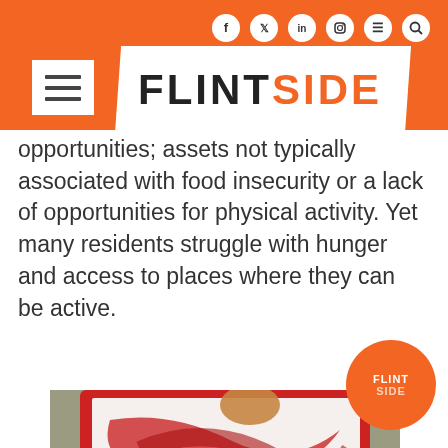FLINTSIDE
opportunities; assets not typically associated with food insecurity or a lack of opportunities for physical activity. Yet many residents struggle with hunger and access to places where they can be active.
[Figure (photo): Overhead view of art/painting activity with red and yellow paint on white plates and a red tray on a grey table surface, with hands visible.]